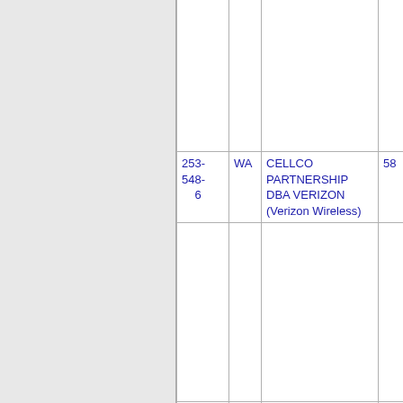| Phone | State | Carrier | Num |
| --- | --- | --- | --- |
|  |  |  |  |
| 253-548-6 | WA | CELLCO PARTNERSHIP DBA VERIZON (Verizon Wireless) | 58 |
|  |  |  |  |
| 253-548-7 | WA | CELLCO PARTNERSHIP DBA VERIZON (Verizon Wireless) | 58 |